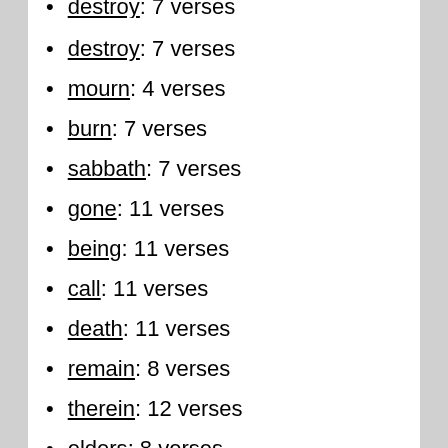destroy: 7 verses
mourn: 4 verses
burn: 7 verses
sabbath: 7 verses
gone: 11 verses
being: 11 verses
call: 11 verses
death: 11 verses
remain: 8 verses
therein: 12 verses
elders: 8 verses
carry: 8 verses
tabernacle: 10 verses